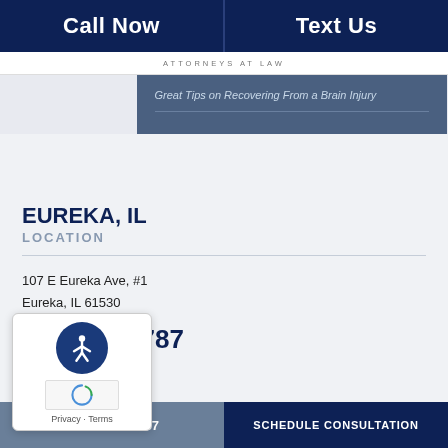Call Now | Text Us
ATTORNEYS AT LAW
Great Tips on Recovering From a Brain Injury
EUREKA, IL
LOCATION
107 E Eureka Ave, #1
Eureka, IL 61530
309-364-6787
phone answering
309-364-6787 | SCHEDULE CONSULTATION